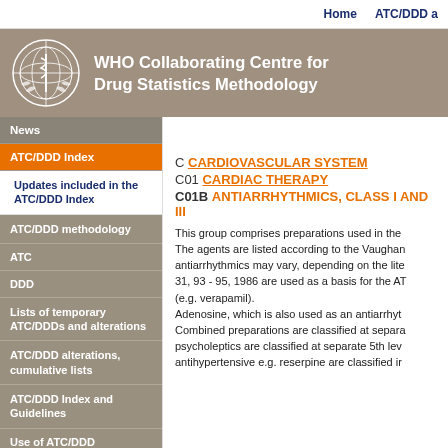Home   ATC/DDD a
[Figure (logo): WHO Collaborating Centre for Drug Statistics Methodology logo with WHO emblem]
WHO Collaborating Centre for Drug Statistics Methodology
News
ATC/DDD Index
Updates included in the ATC/DDD Index
ATC/DDD methodology
ATC
DDD
Lists of temporary ATC/DDDs and alterations
ATC/DDD alterations, cumulative lists
ATC/DDD Index and Guidelines
Use of ATC/DDD
Courses
C CARDIOVASCULAR SYSTEM
C01 CARDIAC THERAPY
C01B ANTIARRHYTHMICS, CLASS I AND III
This group comprises preparations used in the treatment of cardiac arrhythmias. The agents are listed according to the Vaughan Williams classification. The antiarrhythmics may vary, depending on the literature consulted. References 29 - 31, 93 - 95, 1986 are used as a basis for the ATC classification. See also C08 (e.g. verapamil). Adenosine, which is also used as an antiarrhythmic agent, is classified in C01EB. Combined preparations are classified at separate 5th levels. Combined antiarrhythmics/psycholeptics are classified at separate 5th levels. Antiarrhythmics also used as antihypertensive e.g. reserpine are classified in